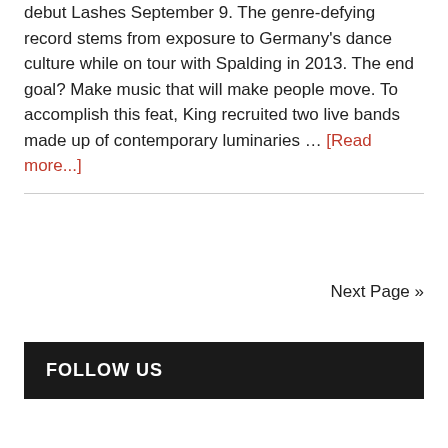debut Lashes September 9. The genre-defying record stems from exposure to Germany's dance culture while on tour with Spalding in 2013. The end goal? Make music that will make people move. To accomplish this feat, King recruited two live bands made up of contemporary luminaries … [Read more...]
Next Page »
FOLLOW US